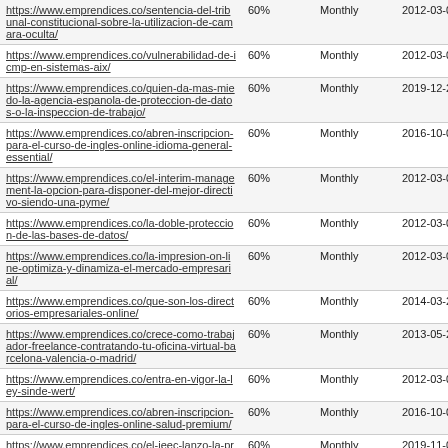| https://www.emprendices.co/sentencia-del-tribunal-constitucional-sobre-la-utilizacion-de-camara-oculta/ | 60% | Monthly | 2012-03-07 21:54 |
| https://www.emprendices.co/vulnerabilidad-de-icmp-en-sistemas-aix/ | 60% | Monthly | 2012-03-07 21:49 |
| https://www.emprendices.co/quien-da-mas-miedo-la-agencia-espanola-de-proteccion-de-datos-o-la-inspeccion-de-trabajo/ | 60% | Monthly | 2019-12-21 11:49 |
| https://www.emprendices.co/abren-inscripcion-para-el-curso-de-ingles-online-idioma-general-essential/ | 60% | Monthly | 2016-10-06 19:51 |
| https://www.emprendices.co/el-interim-management-la-opcion-para-disponer-del-mejor-directivo-siendo-una-pyme/ | 60% | Monthly | 2012-03-07 20:46 |
| https://www.emprendices.co/la-doble-proteccion-de-las-bases-de-datos/ | 60% | Monthly | 2012-03-07 20:38 |
| https://www.emprendices.co/la-impresion-on-line-optimiza-y-dinamiza-el-mercado-empresarial/ | 60% | Monthly | 2012-03-07 20:35 |
| https://www.emprendices.co/que-son-los-directorios-empresariales-online/ | 60% | Monthly | 2014-03-28 21:39 |
| https://www.emprendices.co/crece-como-trabajador-freelance-contratando-tu-oficina-virtual-barcelona-valencia-o-madrid/ | 60% | Monthly | 2013-05-24 15:28 |
| https://www.emprendices.co/entra-en-vigor-la-ley-sinde-wert/ | 60% | Monthly | 2012-03-07 20:15 |
| https://www.emprendices.co/abren-inscripcion-para-el-curso-de-ingles-online-salud-premium/ | 60% | Monthly | 2016-10-06 19:51 |
| https://www.emprendices.co/el-ieec-lanzo-la-primera-certificacion-logistica-profesional-en-castellano-con-el-grupo-arbor-y-silo/ | 60% | Monthly | 2019-11-05 15:38 |
| https://www.emprendices.co/el-ieec-lanzo- | 60% | Monthly | 2019-11-05 |